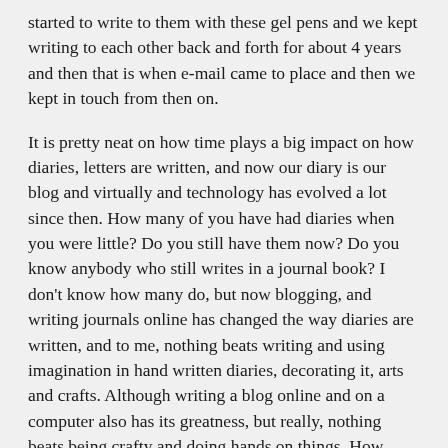started to write to them with these gel pens and we kept writing to each other back and forth for about 4 years and then that is when e-mail came to place and then we kept in touch from then on.
It is pretty neat on how time plays a big impact on how diaries, letters are written, and now our diary is our blog and virtually and technology has evolved a lot since then. How many of you have had diaries when you were little? Do you still have them now? Do you know anybody who still writes in a journal book? I don't know how many do, but now blogging, and writing journals online has changed the way diaries are written, and to me, nothing beats writing and using imagination in hand written diaries, decorating it, arts and crafts. Although writing a blog online and on a computer also has its greatness, but really, nothing beats being crafty and doing hands on things. How about you?